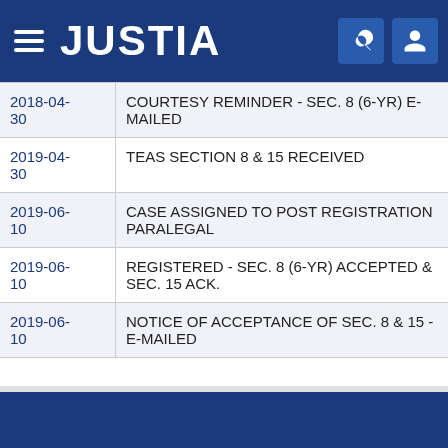JUSTIA
| Date | Event |
| --- | --- |
| 2018-04-30 | COURTESY REMINDER - SEC. 8 (6-YR) E-MAILED |
| 2019-04-30 | TEAS SECTION 8 & 15 RECEIVED |
| 2019-06-10 | CASE ASSIGNED TO POST REGISTRATION PARALEGAL |
| 2019-06-10 | REGISTERED - SEC. 8 (6-YR) ACCEPTED & SEC. 15 ACK. |
| 2019-06-10 | NOTICE OF ACCEPTANCE OF SEC. 8 & 15 - E-MAILED |